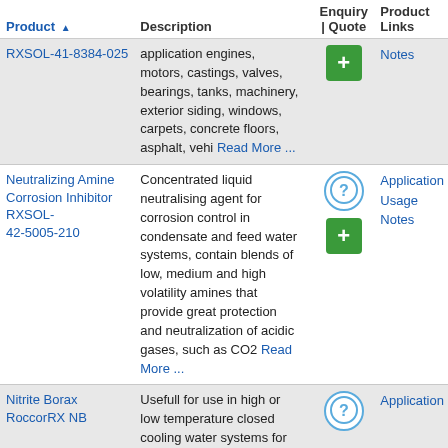| Product | Description | Enquiry | Quote | Product Links |
| --- | --- | --- | --- |
| RXSOL-41-8384-025 | application engines, motors, castings, valves, bearings, tanks, machinery, exterior siding, windows, carpets, concrete floors, asphalt, vehi Read More ... | [+] | Notes |
| Neutralizing Amine Corrosion Inhibitor RXSOL-42-5005-210 | Concentrated liquid neutralising agent for corrosion control in condensate and feed water systems, contain blends of low, medium and high volatility amines that provide great protection and neutralization of acidic gases, such as CO2 Read More ... | [?][+] | Application Usage Notes |
| Nitrite Borax RoccorRX NB | Usefull for use in high or low temperature closed cooling water systems for the prevention of corrosion and scale formation in ... | [?] | Application |